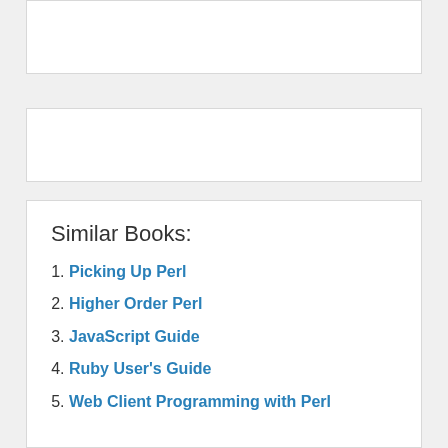Similar Books:
Picking Up Perl
Higher Order Perl
JavaScript Guide
Ruby User's Guide
Web Client Programming with Perl